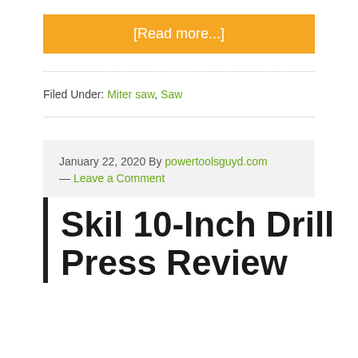[Read more...]
Filed Under: Miter saw, Saw
January 22, 2020 By powertoolsguyd.com — Leave a Comment
Skil 10-Inch Drill Press Review